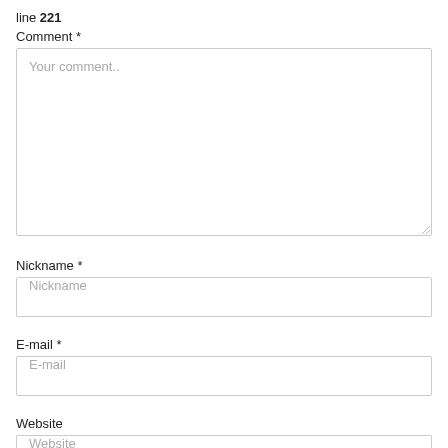line 221
Comment *
[Figure (other): Textarea input field with placeholder text 'Your comment..']
Nickname *
[Figure (other): Text input field with placeholder 'Nickname']
E-mail *
[Figure (other): Text input field with placeholder 'E-mail']
Website
[Figure (other): Text input field with placeholder 'Website' (partially visible)]